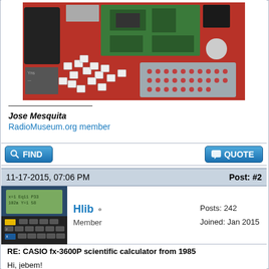[Figure (photo): Disassembled Casio calculator parts on a red background, showing circuit board, keypad, display, and other components]
Jose Mesquita
RadioMuseum.org member
FIND
QUOTE
11-17-2015, 07:06 PM
Post: #2
[Figure (photo): Avatar image showing a Casio scientific calculator display]
Hlib
Member
Posts: 242
Joined: Jan 2015
RE: CASIO fx-3600P scientific calculator from 1985
Hi, jebem!
During a few years I used fx-3600pv, and then it was given as a gift for somebody, because this calculator is very primitive for me. What exactly attracted You in it except a price? I sometimes buy old beautiful garbage (MK- 61,52, fx - 6300g etc.) as